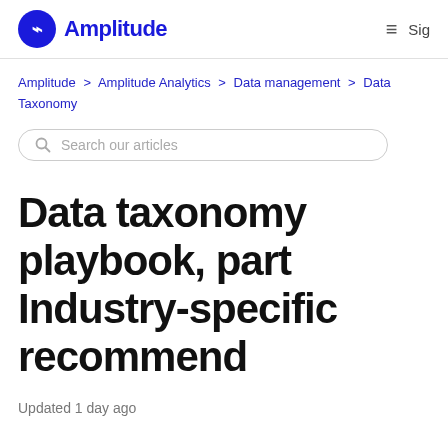Amplitude [logo] | ≡ Sig
Amplitude > Amplitude Analytics > Data management > Data Taxonomy
Search our articles
Data taxonomy playbook, part Industry-specific recommend
Updated 1 day ago